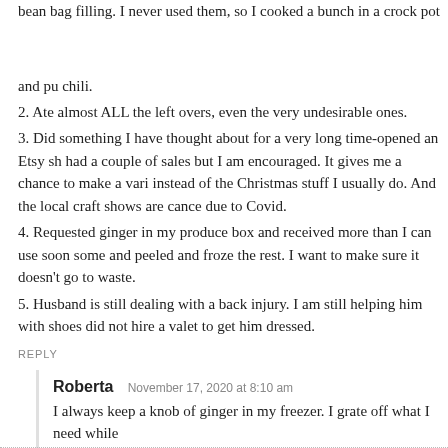bean bag filling. I never used them, so I cooked a bunch in a crock pot and put them in chili.
2. Ate almost ALL the left overs, even the very undesirable ones.
3. Did something I have thought about for a very long time-opened an Etsy sh... had a couple of sales but I am encouraged. It gives me a chance to make a vari... instead of the Christmas stuff I usually do. And the local craft shows are cance... due to Covid.
4. Requested ginger in my produce box and received more than I can use soon... some and peeled and froze the rest. I want to make sure it doesn't go to waste.
5. Husband is still dealing with a back injury. I am still helping him with shoes... did not hire a valet to get him dressed.
REPLY
Roberta  November 17, 2020 at 8:10 am
I always keep a knob of ginger in my freezer. I grate off what I need while frozen, and I don't have to worry about it going bad.
REPLY